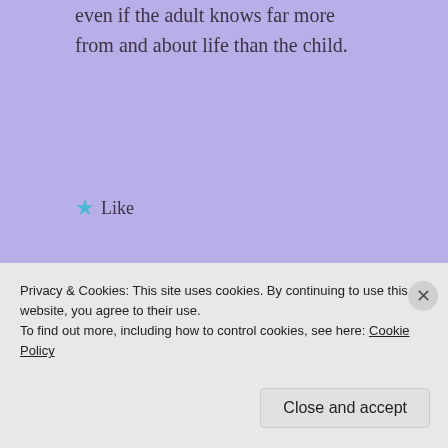even if the adult knows far more from and about life than the child.
★ Like
LOG IN TO REPLY
we appreciate you thoughts...
Privacy & Cookies: This site uses cookies. By continuing to use this website, you agree to their use.
To find out more, including how to control cookies, see here: Cookie Policy